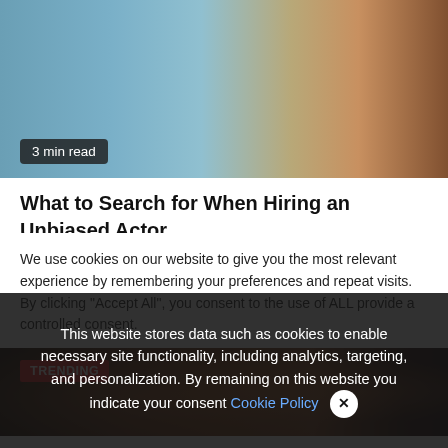[Figure (photo): Outdoor scene showing part of a car and a person with a camera rig/equipment on a road]
3 min read
What to Search for When Hiring an Unbiased Actor
3 weeks ago   jasabacklink
[Figure (photo): Trending: dark photo of group of young people holding candles/sparklers at night]
We use cookies on our website to give you the most relevant experience by remembering your preferences and repeat visits. By clicking "Accept All", you consent to the use of ALL provide a controlled consent.
This website stores data such as cookies to enable necessary site functionality, including analytics, targeting, and personalization. By remaining on this website you indicate your consent Cookie Policy ✕